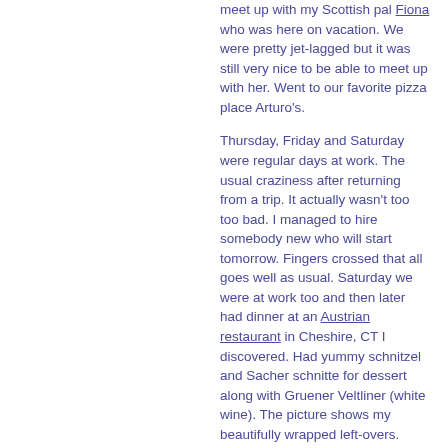meet up with my Scottish pal Fiona who was here on vacation. We were pretty jet-lagged but it was still very nice to be able to meet up with her. Went to our favorite pizza place Arturo's.
Thursday, Friday and Saturday were regular days at work. The usual craziness after returning from a trip. It actually wasn't too too bad. I managed to hire somebody new who will start tomorrow. Fingers crossed that all goes well as usual. Saturday we were at work too and then later had dinner at an Austrian restaurant in Cheshire, CT I discovered. Had yummy schnitzel and Sacher schnitte for dessert along with Gruener Veltliner (white wine). The picture shows my beautifully wrapped left-overs.
Today has been spent unpacking and